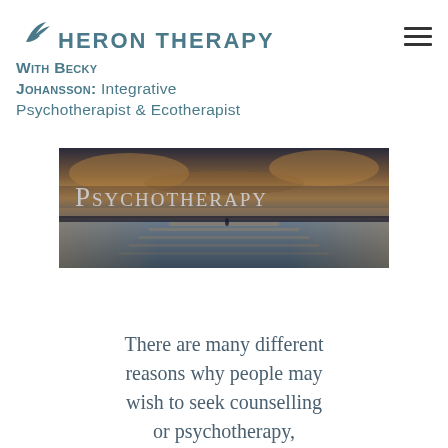HERON THERAPY
With Becky Johansson: Integrative Psychotherapist & Ecotherapist
[Figure (photo): Banner image showing a calm water scene at sunset/dusk with the word PSYCHOTHERAPY overlaid in white small-caps serif text]
There are many different reasons why people may wish to seek counselling or psychotherapy,